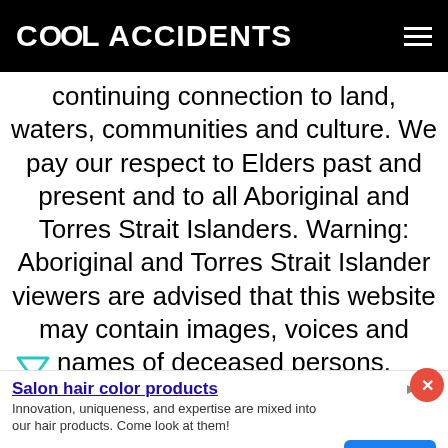Cool Accidents
continuing connection to land, waters, communities and culture. We pay our respect to Elders past and present and to all Aboriginal and Torres Strait Islanders. Warning: Aboriginal and Torres Strait Islander viewers are advised that this website may contain images, voices and names of deceased persons.
[Figure (logo): Teal/cyan filter icon (funnel shape)]
HOME ... EWS
[Figure (screenshot): Advertisement banner: Salon hair color products. Innovation, uniqueness, and expertise are mixed into our hair products. Come look at them! Nouvelle New Generation. Open button.]